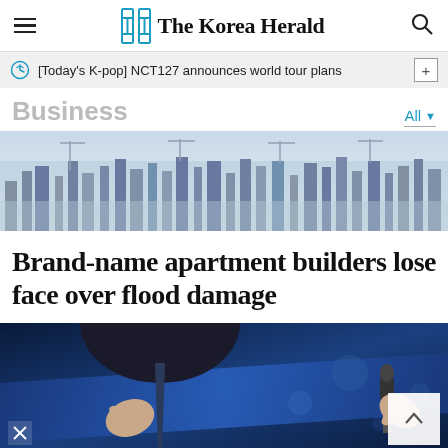The Korea Herald
[Today's K-pop] NCT127 announces world tour plans
Business
[Figure (photo): Aerial cityscape showing dense urban construction with cranes and buildings under a hazy sky]
Brand-name apartment builders lose face over flood damage
[Figure (photo): Person in suit gesturing with hand against blue background, with a microphone visible in the foreground]